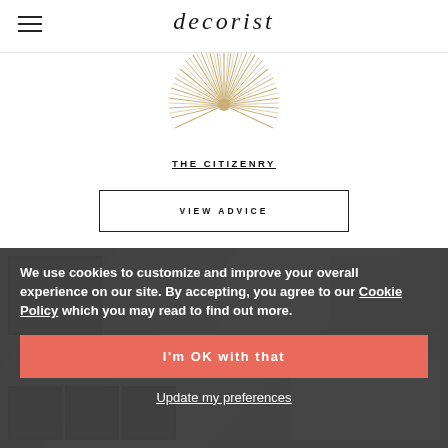decorist
[Figure (illustration): Decorative starburst / sea urchin ornament in gold/beige tones, partially cropped at top of page]
THE CITIZENRY
VIEW ADVICE
[Figure (photo): Background collage of interior design room photos, grayed out behind cookie consent overlay]
We use cookies to customize and improve your overall experience on our site. By accepting, you agree to our Cookie Policy which you may read to find out more.
I'm OK with that
Update my preferences